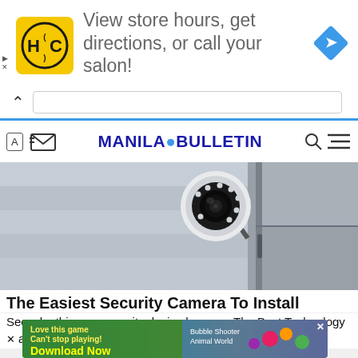[Figure (screenshot): Advertisement banner: HC logo (yellow circle with HC initials), text 'View store hours, get directions, or call your salon!', blue diamond arrow icon on the right. Small play and X icons on the left.]
[Figure (screenshot): Browser navigation bar with chevron up caret and URL text field, blue bottom border.]
MANILA BULLETIN (with globe icon between words)
[Figure (photo): Photo of a white dome security camera mounted on a wall/structure with a metal frame or door in the background. Camera has visible LED ring around the lens.]
The Easiest Security Camera To Install
See why this new security device has won The Best Technology ance of 2022 and selling out everywhere...
[Figure (screenshot): Bottom advertisement banner with colorful game ad: 'Love this game Can't stop playing! Download Now' with Bubble Shooter Animal World game graphic.]